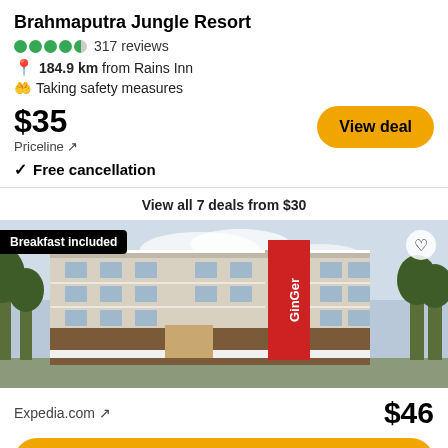Brahmaputra Jungle Resort
317 reviews
184.9 km from Rains Inn
Taking safety measures
$35
Priceline ↗
View deal
✓ Free cancellation
View all 7 deals from $30
[Figure (photo): Exterior photo of Ginger hotel, a multi-storey building with white facade and red Ginger brand signage, surrounded by trees]
Breakfast included
Expedia.com ↗
$46
View deal